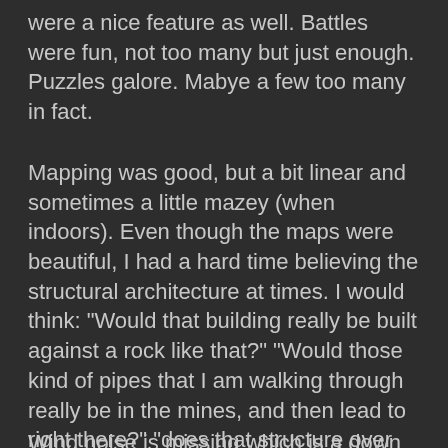were a nice feature as well. Battles were fun, not too many but just enough. Puzzles galore. Mabye a few too many in fact.
Mapping was good, but a bit linear and sometimes a little mazey (when indoors). Even though the maps were beautiful, I had a hard time believing the structural architecture at times. I would think: "Would that building really be built against a rock like that?" "Would those kind of pipes that I am walking through really be in the mines, and then lead to right there?" "does that structure over there make much sense"? These questions I would sometimes ask myself. It was a close call. I guess most of the stuff that I questioned can be justified and make sense...but only just.
Wind noise is missing which is a down side...